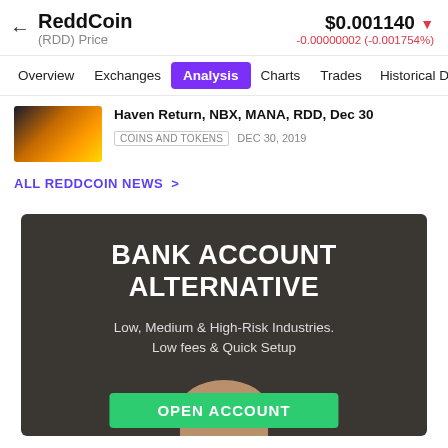ReddCoin (RDD) Price — $0.001140 ▼ -0.00000002 (-0.001754%)
Overview  Exchanges  Analysis  Charts  Trades  Historical Da
Haven Return, NBX, MANA, RDD, Dec 30
COINS AND TOKENS  DEC 30, 2019
ALL REDDCOIN NEWS >
[Figure (screenshot): Dark background advertisement banner for a bank account alternative service. Headline: BANK ACCOUNT ALTERNATIVE. Subtext: Low, Medium & High-Risk Industries. Low fees & Quick Setup. Green button: OPEN ACCOUNT.]